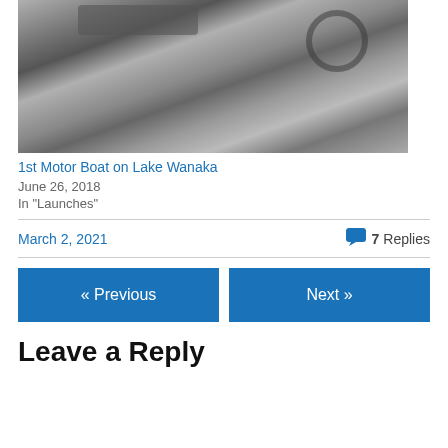[Figure (photo): Black and white historical photograph showing rocks, trees, and a horse-drawn wagon or cart near what appears to be a stone wall or embankment, captioned as 1st Motor Boat on Lake Wanaka]
1st Motor Boat on Lake Wanaka
June 26, 2018
In "Launches"
March 2, 2021
7 Replies
« Previous
Next »
Leave a Reply